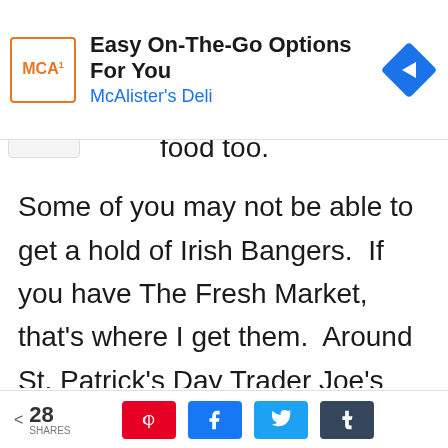[Figure (screenshot): Advertisement banner for McAlister's Deli with logo, text 'Easy On-The-Go Options For You' and 'McAlister's Deli', and a blue diamond navigation icon.]
food too.
Some of you may not be able to get a hold of Irish Bangers.  If you have The Fresh Market, that's where I get them.  Around St. Patrick's Day Trader Joe's also sells them. A substitute would be a brat but try to seek the Irish banger out.  The texture is quite delightful
< 28 SHARES  [Pinterest] [Facebook] [Twitter] [Tumblr]